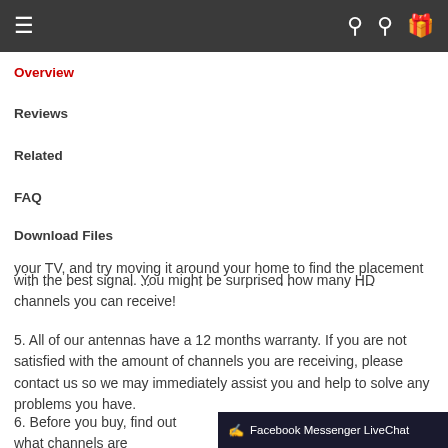Navigation bar with menu, search, user, and gift icons
Overview
Reviews
Related
FAQ
Download Files
your TV, and try moving it around your home to find the placement with the best signal. You might be surprised how many HD channels you can receive!
5. All of our antennas have a 12 months warranty. If you are not satisfied with the amount of channels you are receiving, please contact us so we may immediately assist you and help to solve any problems you have.
6. Before you buy, find out what channels are available in your area. Visit: http://dtv.gov/maps or http://www.tvfool.com.
Facebook Messenger LiveChat